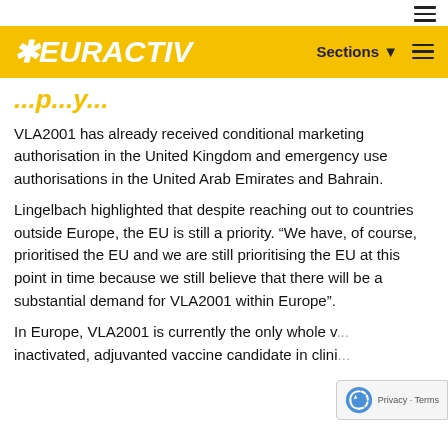EURACTIV — Sections navigation bar
VLA2001 has already received conditional marketing authorisation in the United Kingdom and emergency use authorisations in the United Arab Emirates and Bahrain.
Lingelbach highlighted that despite reaching out to countries outside Europe, the EU is still a priority. “We have, of course, prioritised the EU and we are still prioritising the EU at this point in time because we still believe that there will be a substantial demand for VLA2001 within Europe”.
In Europe, VLA2001 is currently the only whole v... inactivated, adjuvanted vaccine candidate in clini...